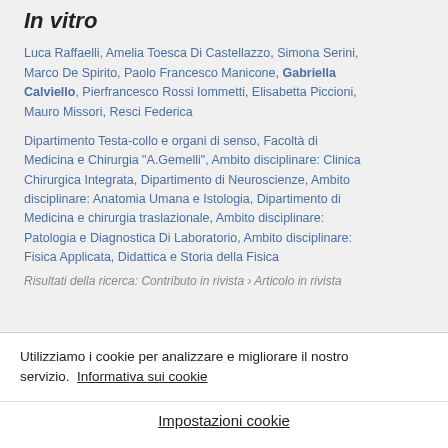In vitro
Luca Raffaelli, Amelia Toesca Di Castellazzo, Simona Serini, Marco De Spirito, Paolo Francesco Manicone, Gabriella Calviello, Pierfrancesco Rossi Iommetti, Elisabetta Piccioni, Mauro Missori, Resci Federica
Dipartimento Testa-collo e organi di senso, Facoltà di Medicina e Chirurgia "A.Gemelli", Ambito disciplinare: Clinica Chirurgica Integrata, Dipartimento di Neuroscienze, Ambito disciplinare: Anatomia Umana e Istologia, Dipartimento di Medicina e chirurgia traslazionale, Ambito disciplinare: Patologia e Diagnostica Di Laboratorio, Ambito disciplinare: Fisica Applicata, Didattica e Storia della Fisica
Risultati della ricerca: Contributo in rivista › Articolo in rivista
Utilizziamo i cookie per analizzare e migliorare il nostro servizio.  Informativa sui cookie
Impostazioni cookie